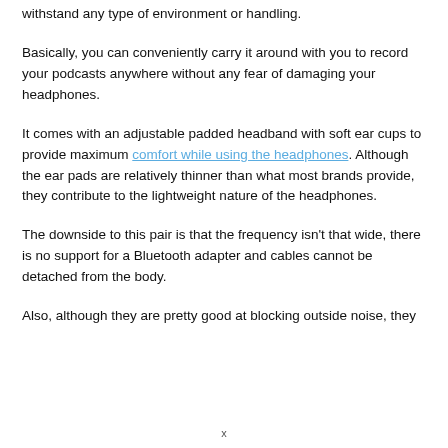withstand any type of environment or handling.
Basically, you can conveniently carry it around with you to record your podcasts anywhere without any fear of damaging your headphones.
It comes with an adjustable padded headband with soft ear cups to provide maximum comfort while using the headphones. Although the ear pads are relatively thinner than what most brands provide, they contribute to the lightweight nature of the headphones.
The downside to this pair is that the frequency isn't that wide, there is no support for a Bluetooth adapter and cables cannot be detached from the body.
Also, although they are pretty good at blocking outside noise, they
x